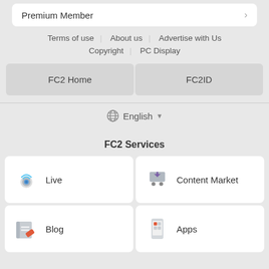Premium Member
Terms of use | About us | Advertise with Us
Copyright | PC Display
FC2 Home
FC2ID
English
FC2 Services
Live
Content Market
Blog
Apps